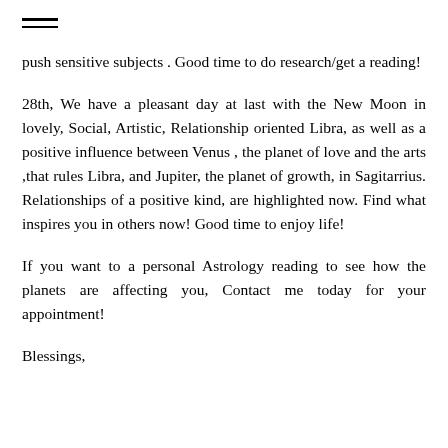≡
push sensitive subjects . Good time to do research/get a reading!
28th, We have a pleasant day at last with the New Moon in lovely, Social, Artistic, Relationship oriented Libra, as well as a positive influence between Venus , the planet of love and the arts ,that rules Libra, and Jupiter, the planet of growth, in Sagitarrius. Relationships of a positive kind, are highlighted now. Find what inspires you in others now! Good time to enjoy life!
If you want to a personal Astrology reading to see how the planets are affecting you, Contact me today for your appointment!
Blessings,